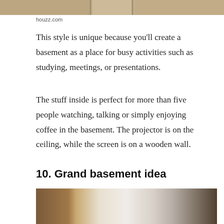[Figure (photo): Top portion of a basement interior photo, cropped at the top of the page]
houzz.com
This style is unique because you'll create a basement as a place for busy activities such as studying, meetings, or presentations.
The stuff inside is perfect for more than five people watching, talking or simply enjoying coffee in the basement. The projector is on the ceiling, while the screen is on a wooden wall.
10. Grand basement idea
[Figure (photo): Bottom portion of a grand basement interior with wooden walls and recessed ceiling lighting]